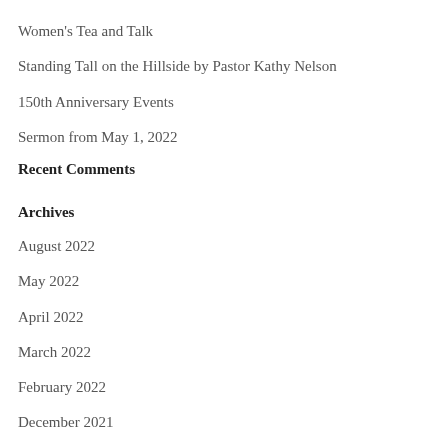Women's Tea and Talk
Standing Tall on the Hillside by Pastor Kathy Nelson
150th Anniversary Events
Sermon from May 1, 2022
Recent Comments
Archives
August 2022
May 2022
April 2022
March 2022
February 2022
December 2021